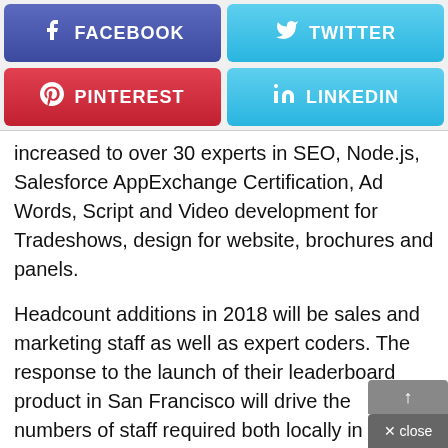[Figure (other): Social media share buttons: Facebook, Twitter, Pinterest, LinkedIn]
increased to over 30 experts in SEO, Node.js, Salesforce AppExchange Certification, Ad Words, Script and Video development for Tradeshows, design for website, brochures and panels.
Headcount additions in 2018 will be sales and marketing staff as well as expert coders. The response to the launch of their leaderboard product in San Francisco will drive the numbers of staff required both locally in Australia and overseas.
Data61